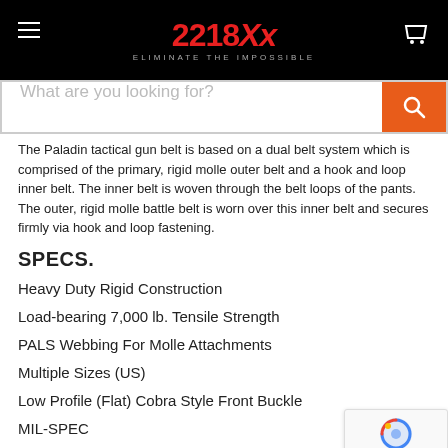2218Xx — ELIMINATE THE IMPOSSIBLE
The Paladin tactical gun belt is based on a dual belt system which is comprised of the primary, rigid molle outer belt and a hook and loop inner belt. The inner belt is woven through the belt loops of the pants. The outer, rigid molle battle belt is worn over this inner belt and secures firmly via hook and loop fastening.
SPECS.
Heavy Duty Rigid Construction
Load-bearing 7,000 lb. Tensile Strength
PALS Webbing For Molle Attachments
Multiple Sizes (US)
Low Profile (Flat) Cobra Style Front Buckle
MIL-SPEC
SIZING